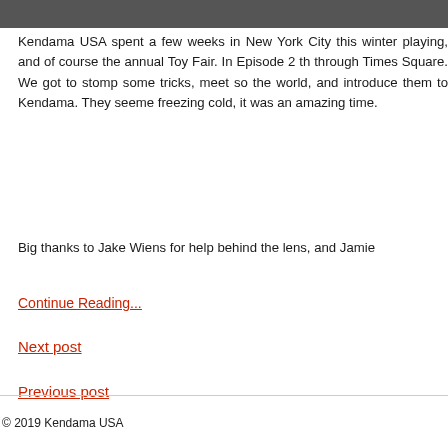[Figure (photo): Partial photo strip at the top of the page, dark/muted tones showing a person in an urban setting]
Kendama USA spent a few weeks in New York City this winter playing, and of course the annual Toy Fair. In Episode 2 th through Times Square. We got to stomp some tricks, meet so the world, and introduce them to Kendama. They seeme freezing cold, it was an amazing time.
Big thanks to Jake Wiens for help behind the lens, and Jamie
Continue Reading...
Next post
Previous post
© 2019 Kendama USA